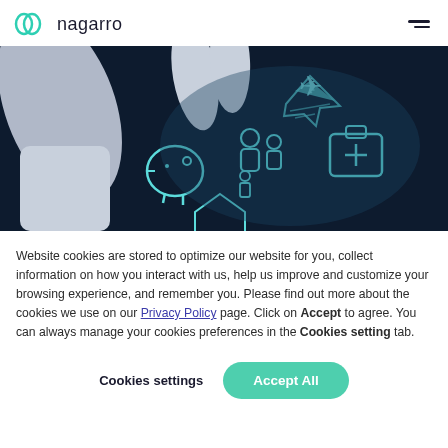nagarro
[Figure (photo): A person's hand holding glowing insurance-related icons including an airplane, family, medical kit, and piggy bank, representing various insurance services, on a dark background.]
Website cookies are stored to optimize our website for you, collect information on how you interact with us, help us improve and customize your browsing experience, and remember you. Please find out more about the cookies we use on our Privacy Policy page. Click on Accept to agree. You can always manage your cookies preferences in the Cookies setting tab.
Cookies settings
Accept All